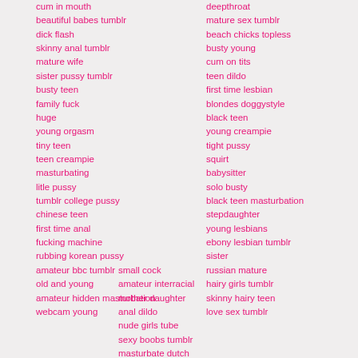cum in mouth
beautiful babes tumblr
dick flash
skinny anal tumblr
mature wife
sister pussy tumblr
busty teen
family fuck
huge
young orgasm
tiny teen
teen creampie
masturbating
litle pussy
tumblr college pussy
chinese teen
first time anal
fucking machine
rubbing korean pussy
amateur bbc tumblr
old and young
amateur hidden masturbation
webcam young
deepthroat
mature sex tumblr
beach chicks topless
busty young
cum on tits
teen dildo
first time lesbian
blondes doggystyle
black teen
young creampie
tight pussy
squirt
babysitter
solo busty
black teen masturbation
stepdaughter
young lesbians
ebony lesbian tumblr
sister
russian mature
hairy girls tumblr
skinny hairy teen
love sex tumblr
small cock
amateur interracial
mother daughter
anal dildo
nude girls tube
sexy boobs tumblr
masturbate dutch
dirty talk
indian teen
tiny tits